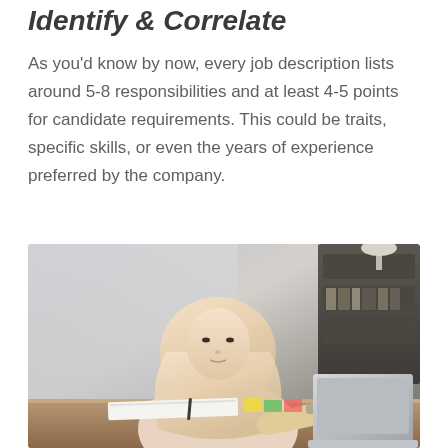Identify & Correlate
As you'd know by now, every job description lists around 5-8 responsibilities and at least 4-5 points for candidate requirements. This could be traits, specific skills, or even the years of experience preferred by the company.
[Figure (photo): A woman wearing a hijab sitting at a desk working on a laptop, with a notebook and pen in front of her, in an office/home office setting.]